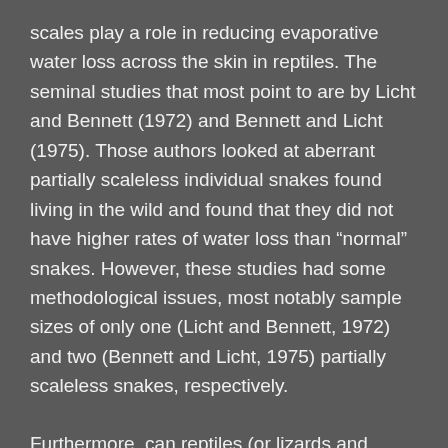scales play a role in reducing evaporative water loss across the skin in reptiles. The seminal studies that most point to are by Licht and Bennett (1972) and Bennett and Licht (1975). Those authors looked at aberrant partially scaleless individual snakes found living in the wild and found that they did not have higher rates of water loss than “normal” snakes. However, these studies had some methodological issues, most notably sample sizes of only one (Licht and Bennett, 1972) and two (Bennett and Licht, 1975) partially scaleless snakes, respectively.
Furthermore, can reptiles (or lizards and snakes, at least) detect their rate of evaporative water loss and respond accordingly? If they can, animals with higher rates of evaporative water loss will perhaps choose cooler temperatures compared to animals with lower